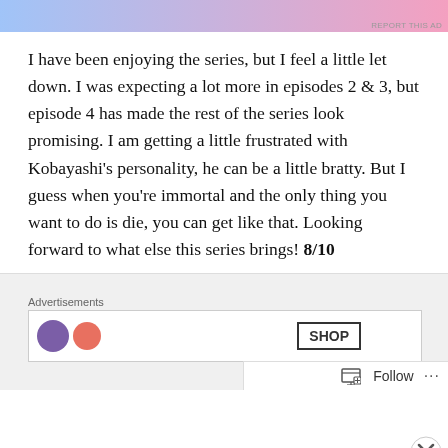[Figure (other): Advertisement banner with gradient background from blue to pink, with 'REPORT THIS AD' text in small gray letters at bottom right]
I have been enjoying the series, but I feel a little let down. I was expecting a lot more in episodes 2 & 3, but episode 4 has made the rest of the series look promising. I am getting a little frustrated with Kobayashi's personality, he can be a little bratty. But I guess when you're immortal and the only thing you want to do is die, you can get like that. Looking forward to what else this series brings! 8/10
If you'd like to keep up to date with all my Fall anime recaps & general posts, hit that subscribe button!
Advertisements
[Figure (other): Overlapping advertisements panel with 'Advertisements' label, inner ad box showing purple and coral icons with a SHOP button, close X button, and Follow bar at bottom right]